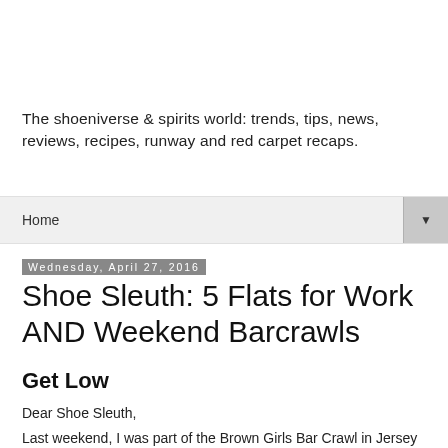The shoeniverse & spirits world: trends, tips, news, reviews, recipes, runway and red carpet recaps.
Home ▼
Wednesday, April 27, 2016
Shoe Sleuth: 5 Flats for Work AND Weekend Barcrawls
Get Low
Dear Shoe Sleuth,
Last weekend, I was part of the Brown Girls Bar Crawl in Jersey City. I loved the drinks and appetizers at Park and Sixth, Roman Nose, HTM and The Drnger, by the way, I